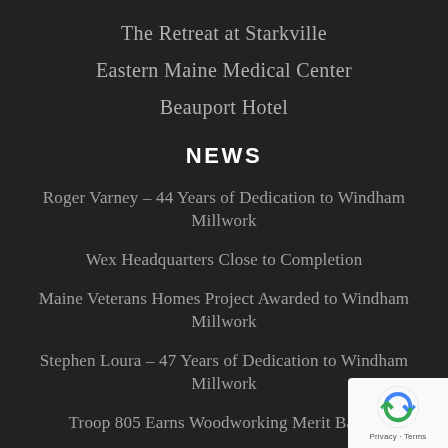The Retreat at Starkville
Eastern Maine Medical Center
Beauport Hotel
NEWS
Roger Varney – 44 Years of Dedication to Windham Millwork
Wex Headquarters Close to Completion
Maine Veterans Homes Project Awarded to Windham Millwork
Stephen Loura – 47 Years of Dedication to Windham Millwork
Troop 805 Earns Woodworking Merit Badge